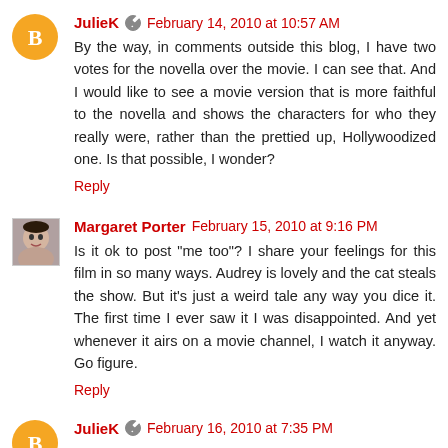JulieK · February 14, 2010 at 10:57 AM
By the way, in comments outside this blog, I have two votes for the novella over the movie. I can see that. And I would like to see a movie version that is more faithful to the novella and shows the characters for who they really were, rather than the prettied up, Hollywoodized one. Is that possible, I wonder?
Reply
Margaret Porter · February 15, 2010 at 9:16 PM
Is it ok to post "me too"? I share your feelings for this film in so many ways. Audrey is lovely and the cat steals the show. But it's just a weird tale any way you dice it. The first time I ever saw it I was disappointed. And yet whenever it airs on a movie channel, I watch it anyway. Go figure.
Reply
JulieK · February 16, 2010 at 7:35 PM